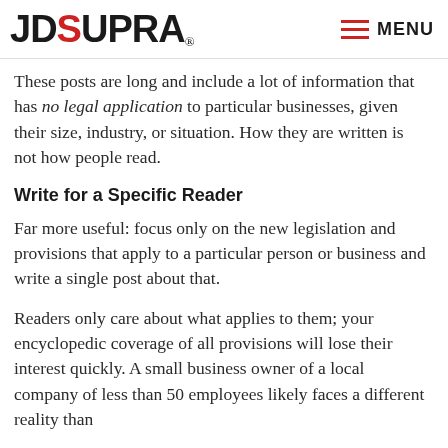JDSupra® MENU
These posts are long and include a lot of information that has no legal application to particular businesses, given their size, industry, or situation. How they are written is not how people read.
Write for a Specific Reader
Far more useful: focus only on the new legislation and provisions that apply to a particular person or business and write a single post about that.
Readers only care about what applies to them; your encyclopedic coverage of all provisions will lose their interest quickly. A small business owner of a local company of less than 50 employees likely faces a different reality than